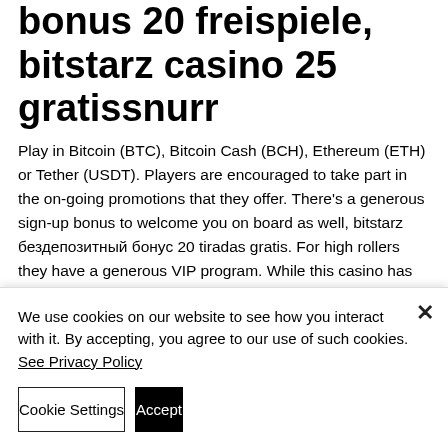bonus 20 freispiele, bitstarz casino 25 gratissnurr
Play in Bitcoin (BTC), Bitcoin Cash (BCH), Ethereum (ETH) or Tether (USDT). Players are encouraged to take part in the on-going promotions that they offer. There's a generous sign-up bonus to welcome you on board as well, bitstarz бездепозитный бонус 20 tiradas gratis. For high rollers they have a generous VIP program. While this casino has developed a few of their own slot games, Bspin also features games from several
We use cookies on our website to see how you interact with it. By accepting, you agree to our use of such cookies. See Privacy Policy
Cookie Settings
Accept